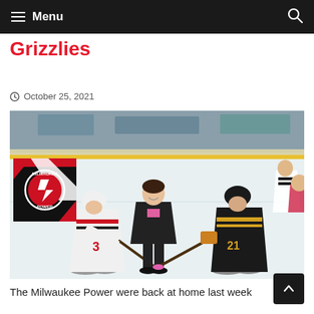Menu
Grizzlies
October 25, 2021
[Figure (photo): Ice hockey faceoff photo showing two players in position for a ceremonial puck drop, with a woman in black standing between them on the ice. A referee stands in the background. The player on the left wears a white Milwaukee Power jersey (#3), and the player on the right wears a black jersey (#21). The Milwaukee Power logo is visible in the upper-left corner of the image.]
The Milwaukee Power were back at home last week